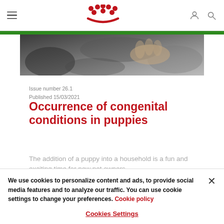Navigation header with menu icon, Royal Canin logo, user and search icons
[Figure (photo): Close-up photo of puppies or a puppy being handled, dark and grey tones]
Issue number 26.1
Published 15/03/2021
Occurrence of congenital conditions in puppies
The addition of a puppy into a household is a fun and exciting time for new pet owners.
We use cookies to personalize content and ads, to provide social media features and to analyze our traffic. You can use cookie settings to change your preferences. Cookie policy
Cookies Settings